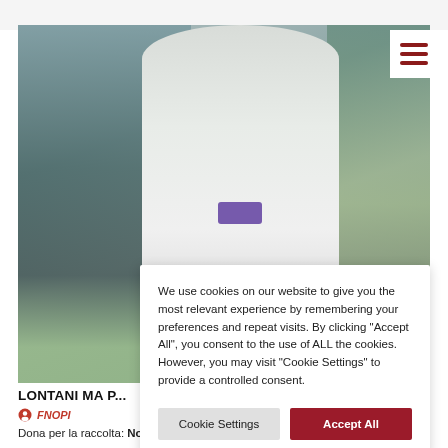[Figure (photo): Photo of a person in a white PPE hazmat suit standing inside an ambulance interior with medical equipment visible on both sides]
We use cookies on our website to give you the most relevant experience by remembering your preferences and repeat visits. By clicking "Accept All", you consent to the use of ALL the cookies. However, you may visit "Cookie Settings" to provide a controlled consent.
Cookie Settings
Accept All
LONTANI MA P...
FNOPI
Dona per la raccolta: Noi con gli infermieri lontani da